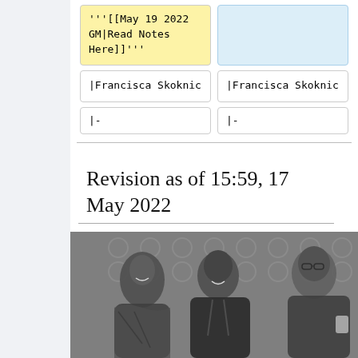| '''[[May 19 2022 GM|Read Notes Here]]''' |  |
| |Francisca Skoknic | |Francisca Skoknic |
| |- | |- |
Revision as of 15:59, 17 May 2022
[Figure (photo): Black and white photo of three people smiling and talking, one woman on left wearing patterned shawl, one man in center with shaved head wearing hoodie, one man on right wearing glasses, decorative lattice background]